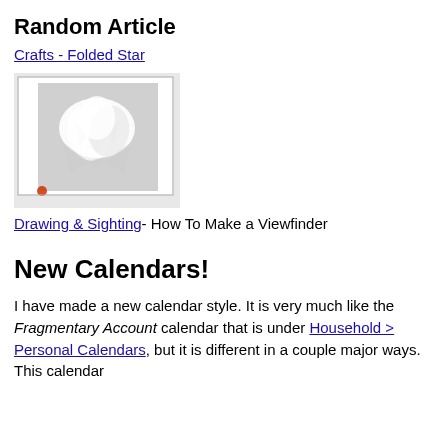Random Article
Crafts - Folded Star
[Figure (photo): Photo of white folded paper star craft against a light background, displayed inside a white-bordered frame with a small red element at bottom left corner]
Drawing & Sighting- How To Make a Viewfinder
New Calendars!
I have made a new calendar style. It is very much like the Fragmentary Account calendar that is under Household > Personal Calendars, but it is different in a couple major ways. This calendar features...